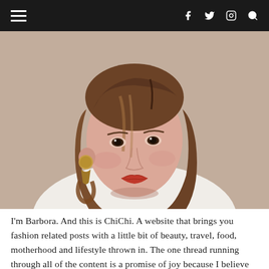≡  f  𝕥  ⊡  🔍
[Figure (photo): Portrait photo of Barbora, a young woman with shoulder-length brown hair with highlights, wearing large gold and tortoiseshell drop earrings, red lipstick, and a white ribbed turtleneck sweater. She is looking slightly upward and to the side, photographed against a warm beige background.]
I'm Barbora. And this is ChiChi. A website that brings you fashion related posts with a little bit of beauty, travel, food, motherhood and lifestyle thrown in. The one thread running through all of the content is a promise of joy because I believe